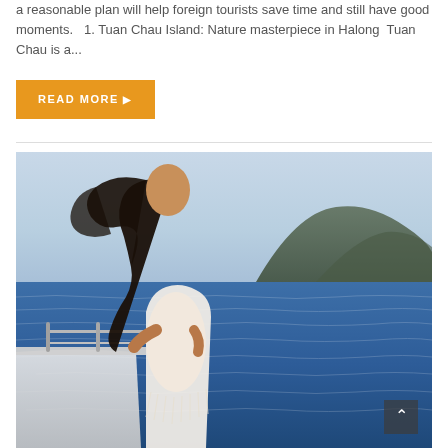a reasonable plan will help foreign tourists save time and still have good moments.   1. Tuan Chau Island: Nature masterpiece in Halong  Tuan Chau is a...
READ MORE
[Figure (photo): A woman with long dark hair wearing a white lace off-shoulder top stands at the railing of a boat, looking out over blue choppy water with rocky hills in the background under a hazy sky.]